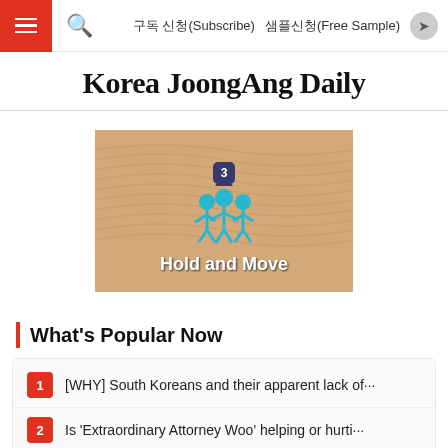구독 신청(Subscribe)  샘플신청(Free Sample)
Korea JoongAng Daily
[Figure (screenshot): Game screenshot showing sandy desert background with blue stick figures and text 'Hold and Move', and a badge showing number 3]
What's Popular Now
1 [WHY] South Koreans and their apparent lack of···
2 Is 'Extraordinary Attorney Woo' helping or hurti···
3 Seventeen's YouTube show faces backlash over···